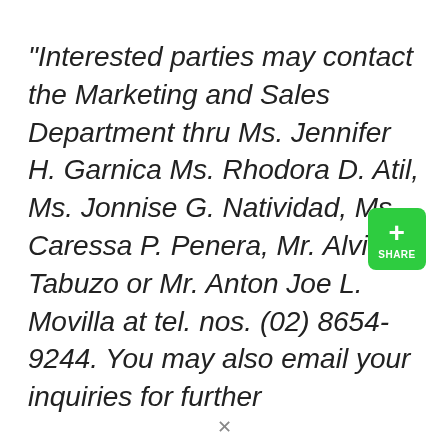“Interested parties may contact the Marketing and Sales Department thru Ms. Jennifer H. Garnica Ms. Rhodora D. Atil, Ms. Jonnise G. Natividad, Ms. Caressa P. Penera, Mr. Alvin E. Tabuzo or Mr. Anton Joe L. Movilla at tel. nos. (02) 8654-9244. You may also email your inquiries for further